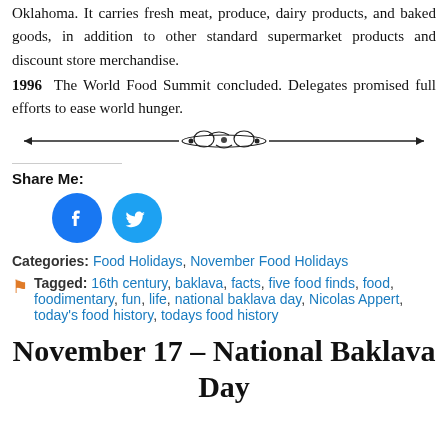Oklahoma. It carries fresh meat, produce, dairy products, and baked goods, in addition to other standard supermarket products and discount store merchandise.
1996 The World Food Summit concluded. Delegates promised full efforts to ease world hunger.
Share Me:
[Figure (illustration): Facebook and Twitter share icons (circular buttons)]
Categories: Food Holidays, November Food Holidays
Tagged: 16th century, baklava, facts, five food finds, food, foodimentary, fun, life, national baklava day, Nicolas Appert, today's food history, todays food history
November 17 – National Baklava Day